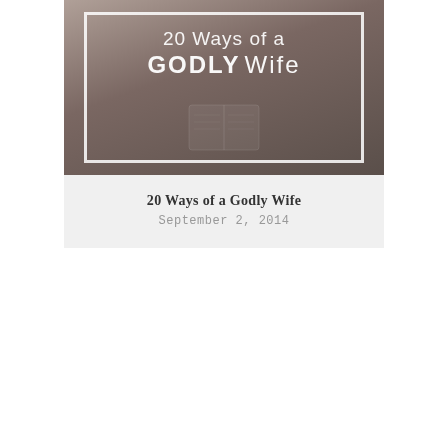[Figure (illustration): Book cover style image with muted brown/sepia tones showing an open book in the background. White border frame overlay. Text reads '20 Ways of a GODLY Wife' in white lettering.]
20 Ways of a Godly Wife
September 2, 2014